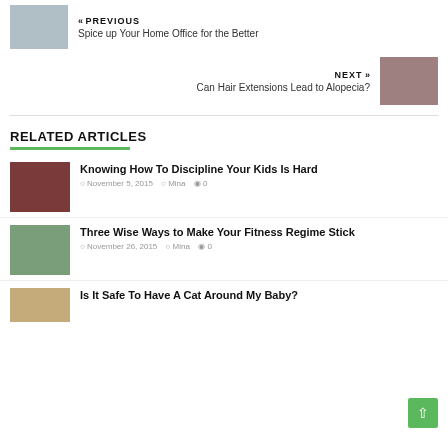[Figure (photo): Woman working at laptop in home office]
« PREVIOUS
Spice up Your Home Office for the Better
NEXT »
Can Hair Extensions Lead to Alopecia?
[Figure (photo): Woman with red lips and dark hair]
RELATED ARTICLES
[Figure (photo): Child with dark hair on red background]
Knowing How To Discipline Your Kids Is Hard
November 5, 2015   Mina   0
[Figure (photo): Person running on a road]
Three Wise Ways to Make Your Fitness Regime Stick
November 26, 2015   Mina   0
[Figure (photo): Cat and baby]
Is It Safe To Have A Cat Around My Baby?